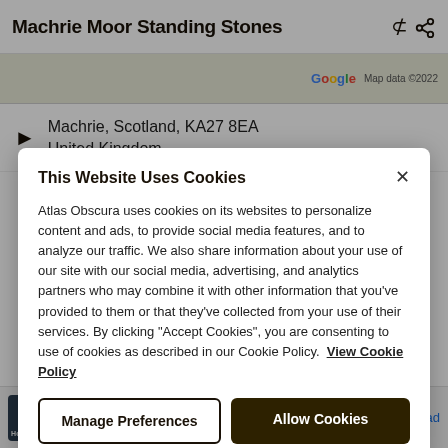Machrie Moor Standing Stones
[Figure (screenshot): Google Maps strip showing map data ©2022]
Machrie, Scotland, KA27 8EA United Kingdom
This Website Uses Cookies
Atlas Obscura uses cookies on its websites to personalize content and ads, to provide social media features, and to analyze our traffic. We also share information about your use of our site with our social media, advertising, and analytics partners who may combine it with other information that you've provided to them or that they've collected from your use of their services. By clicking "Accept Cookies", you are consenting to use of cookies as described in our Cookie Policy. View Cookie Policy
Manage Preferences
Allow Cookies
They Are Coming! Rollic Games Download